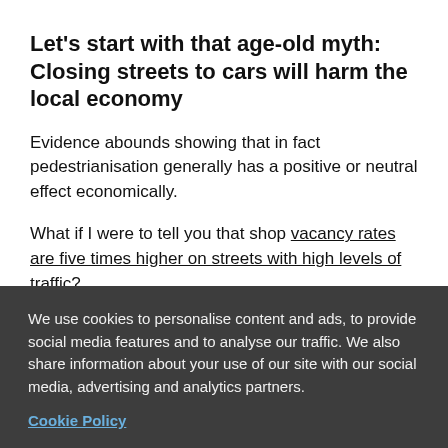Let's start with that age-old myth: Closing streets to cars will harm the local economy
Evidence abounds showing that in fact pedestrianisation generally has a positive or neutral effect economically.
What if I were to tell you that shop vacancy rates are five times higher on streets with high levels of traffic?
Or that retail turnover in pedestrianised areas
We use cookies to personalise content and ads, to provide social media features and to analyse our traffic. We also share information about your use of our site with our social media, advertising and analytics partners.
Cookie Policy